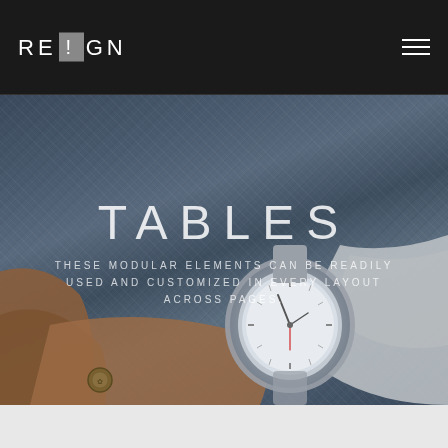RE ! GN
[Figure (photo): Hero section with dark blue denim fabric texture background and a wrist wearing a silver analog watch with a brown leather jacket sleeve and grey shirt cuff visible in the lower portion of the image]
TABLES
THESE MODULAR ELEMENTS CAN BE READILY USED AND CUSTOMIZED IN EVERY LAYOUT ACROSS PAGES.